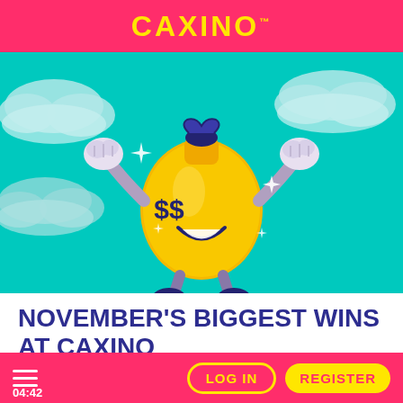CAXINO™
[Figure (illustration): Cartoon money bag character with dollar sign eyes, fists raised in celebration, arms and legs, floating among clouds on a teal/turquoise background. Sparkle stars around the character.]
NOVEMBER'S BIGGEST WINS AT CAXINO
12/8/2020, 12:00:00 PM
≡  LOG IN  REGISTER  04:42